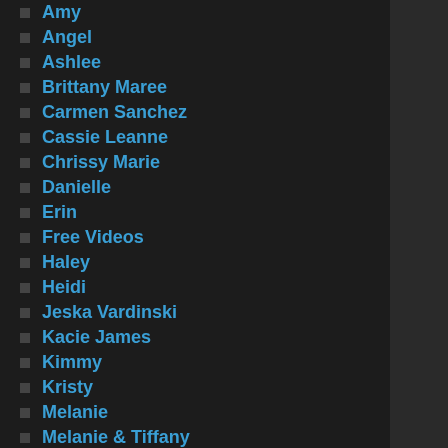Amy
Angel
Ashlee
Brittany Maree
Carmen Sanchez
Cassie Leanne
Chrissy Marie
Danielle
Erin
Free Videos
Haley
Heidi
Jeska Vardinski
Kacie James
Kimmy
Kristy
Melanie
Melanie & Tiffany
Missy
Natalia Forrest
Natalia K.
Pearl